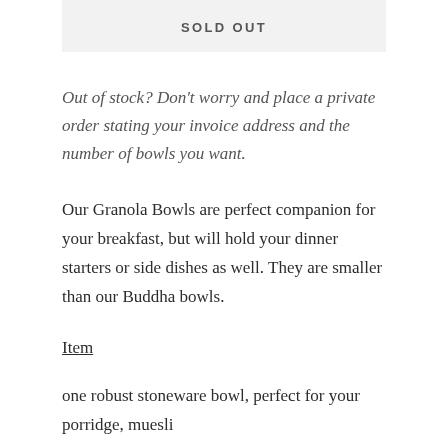SOLD OUT
Out of stock? Don't worry and place a private order stating your invoice address and the number of bowls you want.
Our Granola Bowls are perfect companion for your breakfast, but will hold your dinner starters or side dishes as well. They are smaller than our Buddha bowls.
Item
one robust stoneware bowl, perfect for your porridge, muesli or…